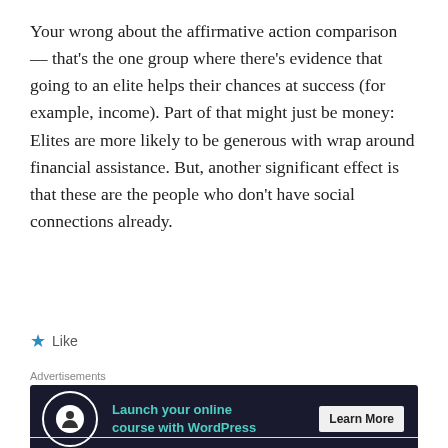Your wrong about the affirmative action comparison — that's the one group where there's evidence that going to an elite helps their chances at success (for example, income). Part of that might just be money: Elites are more likely to be generous with wrap around financial assistance. But, another significant effect is that these are the people who don't have social connections already.
★ Like
Advertisements
[Figure (infographic): Dark advertisement banner for WordPress online course platform. Contains circular logo icon, text 'Launch your online course with WordPress' in teal, and a 'Learn More' button.]